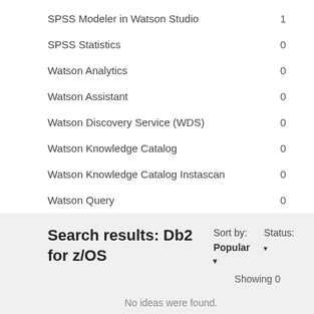SPSS Modeler in Watson Studio  1
SPSS Statistics  0
Watson Analytics  0
Watson Assistant  0
Watson Discovery Service (WDS)  0
Watson Knowledge Catalog  0
Watson Knowledge Catalog Instascan  0
Watson Query  0
Search results: Db2 for z/OS
Sort by: Popular ▾   Status: ▾   Showing 0
No ideas were found.